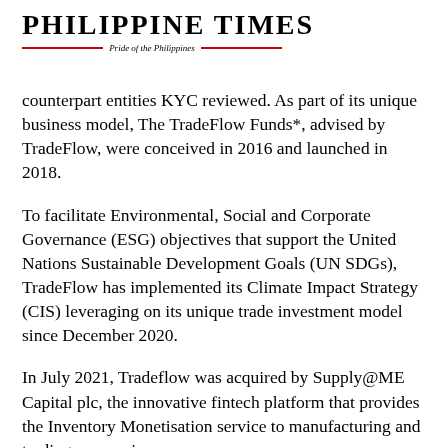Philippine Times — Pride of the Philippines
counterpart entities KYC reviewed. As part of its unique business model, The TradeFlow Funds*, advised by TradeFlow, were conceived in 2016 and launched in 2018.
To facilitate Environmental, Social and Corporate Governance (ESG) objectives that support the United Nations Sustainable Development Goals (UN SDGs), TradeFlow has implemented its Climate Impact Strategy (CIS) leveraging on its unique trade investment model since December 2020.
In July 2021, Tradeflow was acquired by Supply@ME Capital plc, the innovative fintech platform that provides the Inventory Monetisation service to manufacturing and trading companies,